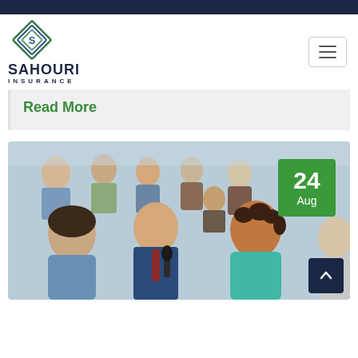[Figure (logo): Sahouri Insurance logo with stylized S mark and company name]
Read More
[Figure (photo): A diverse crowd of people at a seminar or meeting, with a woman holding a microphone speaking in the foreground. A date badge showing 24 Aug is visible in the upper right corner of the photo.]